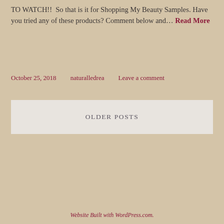TO WATCH!!  So that is it for Shopping My Beauty Samples. Have you tried any of these products? Comment below and… Read More
October 25, 2018    naturalledrea    Leave a comment
OLDER POSTS
Website Built with WordPress.com.